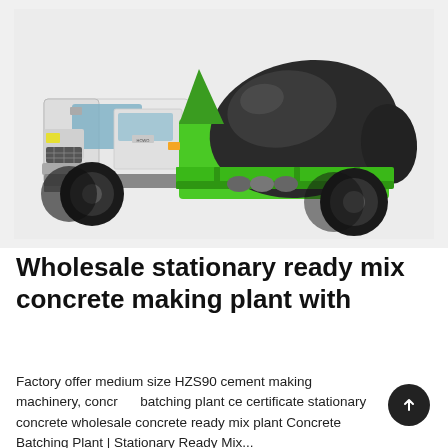[Figure (photo): A cement mixer truck with a white cab and green/dark grey mixing drum mounted on a green frame, photographed on a light grey background.]
Wholesale stationary ready mix concrete making plant with
Factory offer medium size HZS90 cement making machinery, concrete batching plant ce certificate stationary concrete wholesale concrete ready mix plant Concrete Batching Plant | Stationary Ready Mix...